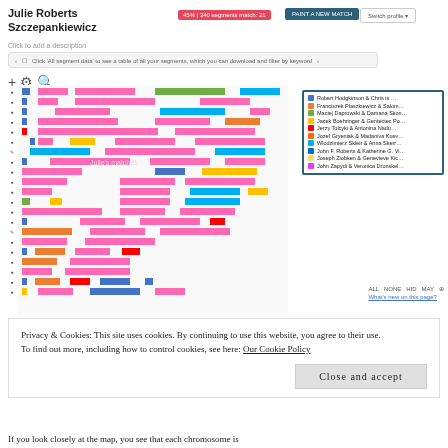Julie Roberts Szczepankiewicz
Click to add a description
[Figure (screenshot): GEDmatch or similar DNA chromosome browser showing colored DNA segment bars across chromosomes for Julie Roberts Szczepankiewicz, with a legend showing matched individuals including Franciszek Plaszkiewicz, Maciej Dabrowski, Jacek Boehringer, Jerzy Tolcyki, Jozef Gryeniak, Wlodzimierz Skleir, John F. Roberts, Joseph Ziobken, John Zapydi.]
Privacy & Cookies: This site uses cookies. By continuing to use this website, you agree to their use.
To find out more, including how to control cookies, see here: Our Cookie Policy
Close and accept
If you look closely at the map, you see that each chromosome is